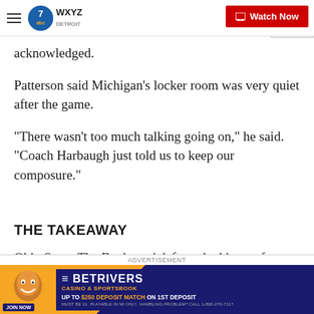WXYZ Detroit — Watch Now
acknowledged.
Patterson said Michigan's locker room was very quiet after the game.
"There wasn't too much talking going on," he said. "Coach Harbaugh just told us to keep our composure."
THE TAKEAWAY
Ohio State: The Buckeyes' defense had issues for t
first time this season, allowing season-high yardage le
[Figure (screenshot): BetRivers Casino & Sportsbook advertisement banner. Join Now. Up to $250 Deposit Match on 1st Deposit.]